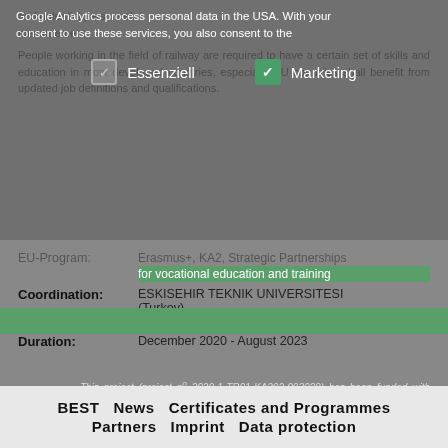and potential personnel. measurement.
People working in the field of railway are required to have a certain set of skills and education in most developed countries, especially EU countries shall benefit from updated job definitions and qualifications.
Google Analytics process personal data in the USA. With your consent to use these services, you also consent to the
Essenziell   Marketing
| Label | Value |
| --- | --- |
| EU-Program: | Erasmus+, KA2, Strategic Partnerships for vocational education and training |
| Coordination: | ESKISEHIR TEKNIK UNIVERSITESI (Turkey) |
| Contact: | Karin Kronika |
| Duration: | December 2020 - August 2023 |
This project (project n° 2020-1-TR01-KA202-093028) has been funded with support from the European Commission. This publication reflects the views only of the author, and the Commission cannot be held responsible for any use which may be made of the information contained therein.
BEST   News   Certificates and Programmes   Partners   Imprint   Data protection